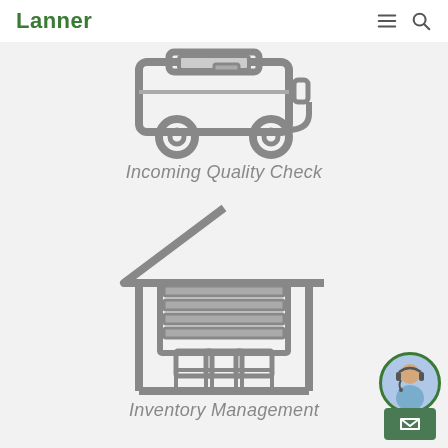Lanner
[Figure (illustration): Icon of a delivery truck/van viewed from the front-side, drawn in gray outline style]
Incoming Quality Check
[Figure (illustration): Icon of a warehouse building with roller door and stacked boxes inside, drawn in gray outline style]
Inventory Management